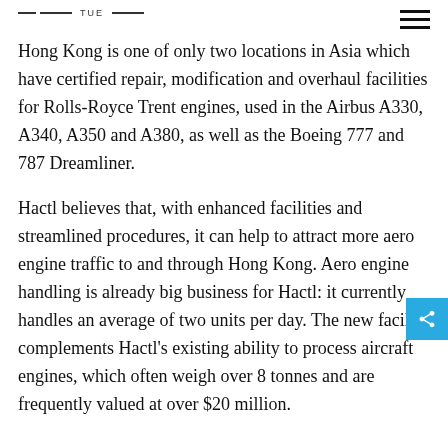TUE
Hong Kong is one of only two locations in Asia which have certified repair, modification and overhaul facilities for Rolls-Royce Trent engines, used in the Airbus A330, A340, A350 and A380, as well as the Boeing 777 and 787 Dreamliner.
Hactl believes that, with enhanced facilities and streamlined procedures, it can help to attract more aero engine traffic to and through Hong Kong. Aero engine handling is already big business for Hactl: it currently handles an average of two units per day. The new facility complements Hactl's existing ability to process aircraft engines, which often weigh over 8 tonnes and are frequently valued at over $20 million.